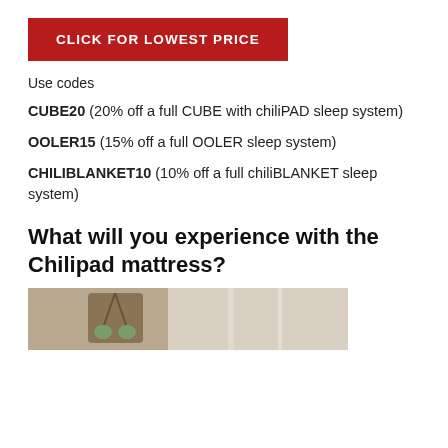CLICK FOR LOWEST PRICE
Use codes
CUBE20 (20% off a full CUBE with chiliPAD sleep system)
OOLER15 (15% off a full OOLER sleep system)
CHILIBLANKET10 (10% off a full chiliBLANKET sleep system)
What will you experience with the Chilipad mattress?
[Figure (photo): Partial photo of a room setting, possibly showing a plant hanger or decor item near a window.]